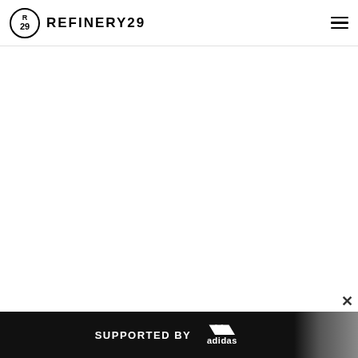REFINERY29
[Figure (screenshot): Blank white content area of the Refinery29 website]
[Figure (illustration): Advertisement banner: SUPPORTED BY adidas, with an athlete image on the right side, dark background]